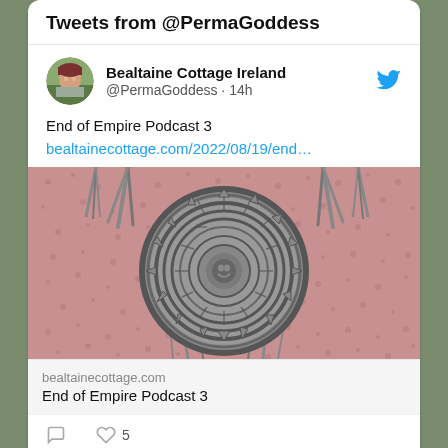Tweets from @PermaGoddess
Bealtaine Cottage Ireland
@PermaGoddess · 14h
End of Empire Podcast 3
bealtainecottage.com/2022/08/19/end…
[Figure (photo): Photo of an Aztec/Maya calendar stone disc mounted on a pink textured wall with decorative rope/tassel elements hanging from it]
bealtainecottage.com
End of Empire Podcast 3